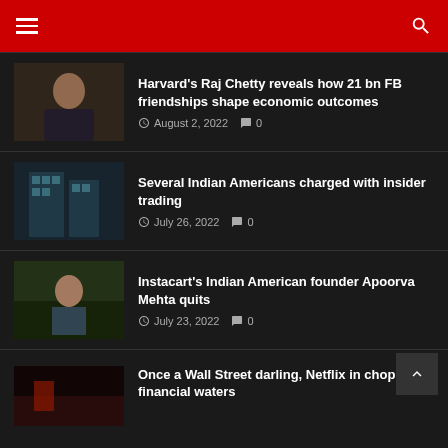Navigation header with hamburger menu and search icon
Harvard's Raj Chetty reveals how 21 bn FB friendships shape economic outcomes
August 2, 2022  0
Several Indian Americans charged with insider trading
July 26, 2022  0
Instacart's Indian American founder Apoorva Mehta quits
July 23, 2022  0
Once a Wall Street darling, Netflix in choppy financial waters